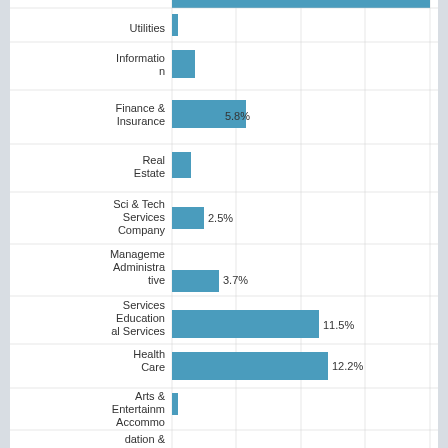[Figure (bar-chart): Industry Distribution]